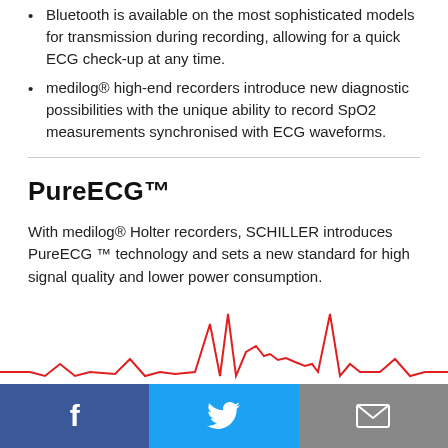Bluetooth is available on the most sophisticated models for transmission during recording, allowing for a quick ECG check-up at any time.
medilog® high-end recorders introduce new diagnostic possibilities with the unique ability to record SpO2 measurements synchronised with ECG waveforms.
PureECG™
With medilog® Holter recorders, SCHILLER introduces PureECG ™ technology and sets a new standard for high signal quality and lower power consumption.
[Figure (other): Red ECG waveform trace showing heartbeat peaks on white background]
[Figure (other): Social media share bar with Facebook, Twitter, and email icons]